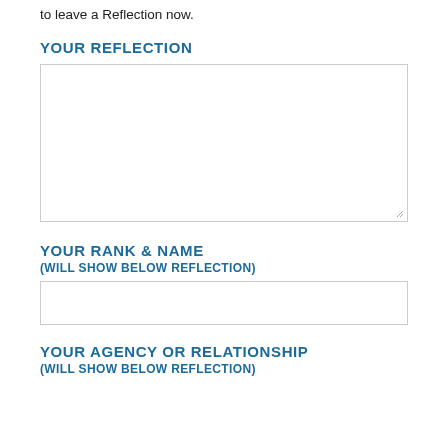to leave a Reflection now.
YOUR REFLECTION
[Figure (other): Large empty text area input box for user reflection, with resize handle at bottom right]
YOUR RANK & NAME
(WILL SHOW BELOW REFLECTION)
[Figure (other): Single-line text input box for rank and name]
YOUR AGENCY OR RELATIONSHIP
(WILL SHOW BELOW REFLECTION)